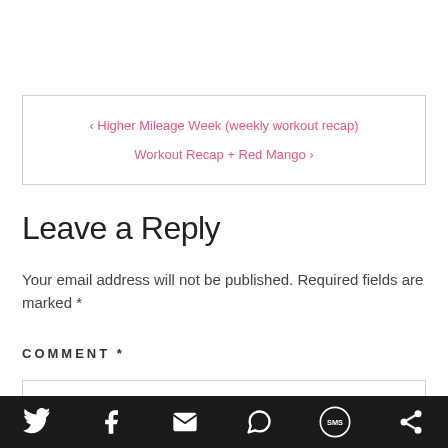‹ Higher Mileage Week (weekly workout recap)
Workout Recap + Red Mango ›
Leave a Reply
Your email address will not be published. Required fields are marked *
COMMENT *
[Figure (other): Bottom social share bar with Twitter, Facebook, Email, WhatsApp, SMS, and share icons]